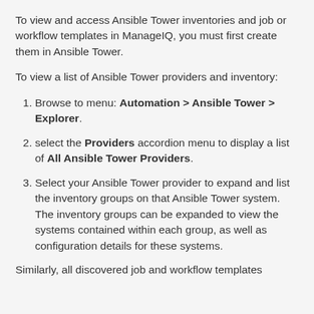To view and access Ansible Tower inventories and job or workflow templates in ManageIQ, you must first create them in Ansible Tower.
To view a list of Ansible Tower providers and inventory:
1. Browse to menu: Automation > Ansible Tower > Explorer.
2. select the Providers accordion menu to display a list of All Ansible Tower Providers.
3. Select your Ansible Tower provider to expand and list the inventory groups on that Ansible Tower system. The inventory groups can be expanded to view the systems contained within each group, as well as configuration details for these systems.
Similarly, all discovered job and workflow templates